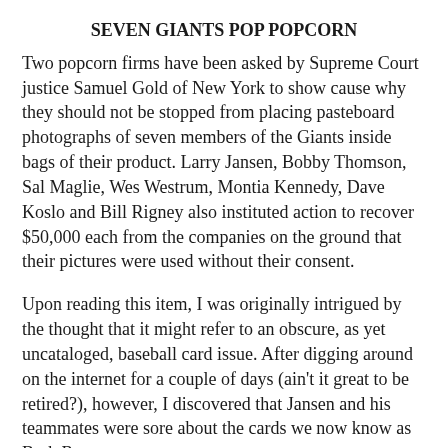SEVEN GIANTS POP POPCORN
Two popcorn firms have been asked by Supreme Court justice Samuel Gold of New York to show cause why they should not be stopped from placing pasteboard photographs of seven members of the Giants inside bags of their product. Larry Jansen, Bobby Thomson, Sal Maglie, Wes Westrum, Montia Kennedy, Dave Koslo and Bill Rigney also instituted action to recover $50,000 each from the companies on the ground that their pictures were used without their consent.
Upon reading this item, I was originally intrigued by the thought that it might refer to an obscure, as yet uncataloged, baseball card issue. After digging around on the internet for a couple of days (ain't it great to be retired?), however, I discovered that Jansen and his teammates were sore about the cards we now know as Berk Ross.
Represented by sports and entertainment attorney Jones J. Shapiro, who lawyered for Haelan Laboratories (Bowman Gum) in its landmark suit against Topps  in 1953, the Giants players on Aug. 14, 1952, obtained a show-cause order to